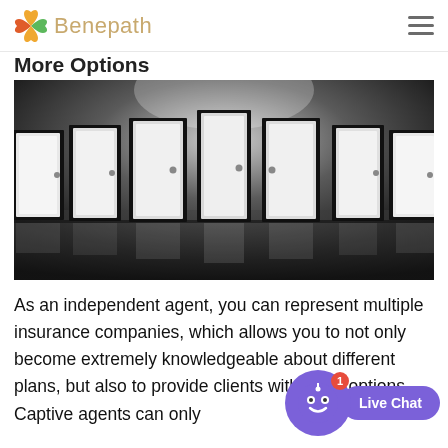Benepath
More Options
[Figure (photo): A row of seven white doors with black frames arranged in a dark room with reflective floor and dramatic overhead lighting]
As an independent agent, you can represent multiple insurance companies, which allows you to not only become extremely knowledgeable about different plans, but also to provide clients with more options. Captive agents can only